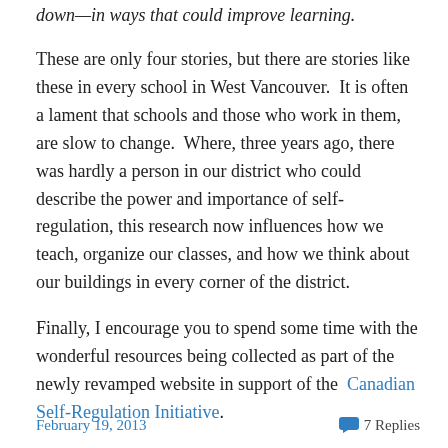down—in ways that could improve learning.
These are only four stories, but there are stories like these in every school in West Vancouver.  It is often a lament that schools and those who work in them, are slow to change.  Where, three years ago, there was hardly a person in our district who could describe the power and importance of self-regulation, this research now influences how we teach, organize our classes, and how we think about our buildings in every corner of the district.
Finally, I encourage you to spend some time with the wonderful resources being collected as part of the newly revamped website in support of the  Canadian Self-Regulation Initiative.
February 19, 2013   7 Replies